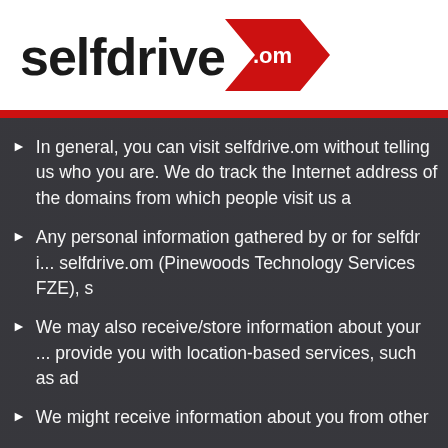[Figure (logo): selfdrive.om logo — black bold text 'selfdrive' followed by a red chevron/arrow shape containing '.om' in white text]
In general, you can visit selfdrive.om without telling us who you are. We do track the Internet address of the domains from which people visit us and analyse this data for trends and statistics.
Any personal information gathered by or for selfdrive.om is controlled by selfdrive.om (Pinewoods Technology Services FZE), subject to this Privacy Policy.
We may also receive/store information about your location. We may use this information to provide you with location-based services, such as advertising, search results, and other personalised content.
We might receive information about you from other sources.
By using or continuing to use the site you agree to our collection, use, disclosure, and processing, transferring and sharing information (including your personal data) in accordance for the purposes as set out in this Privacy Policy.